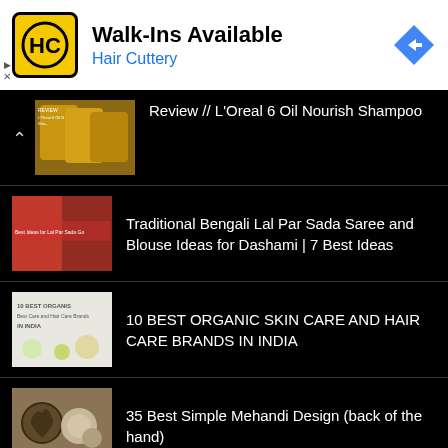[Figure (screenshot): Hair Cuttery advertisement banner with yellow HC logo, Walk-Ins Available headline, Hair Cuttery subline in blue, and blue diamond navigation icon]
Review // L'Oreal 6 Oil Nourish Shampoo
Traditional Bengali Lal Par Sada Saree and Blouse Ideas for Dashami | 7 Best Ideas
10 BEST ORGANIC SKIN CARE AND HAIR CARE BRANDS IN INDIA
35 Best Simple Mehandi Design (back of the hand)